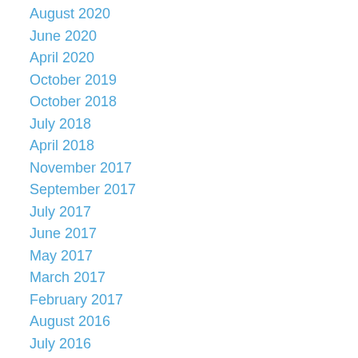August 2020
June 2020
April 2020
October 2019
October 2018
July 2018
April 2018
November 2017
September 2017
July 2017
June 2017
May 2017
March 2017
February 2017
August 2016
July 2016
June 2016
May 2016
April 2016
March 2016